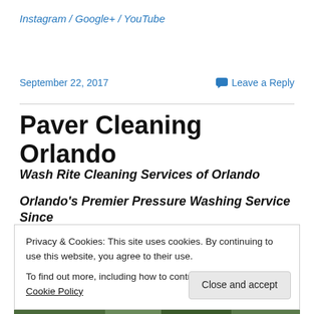Instagram / Google+ / YouTube
September 22, 2017
Leave a Reply
Paver Cleaning Orlando
Wash Rite Cleaning Services of Orlando
Orlando's Premier Pressure Washing Service Since
Privacy & Cookies: This site uses cookies. By continuing to use this website, you agree to their use.
To find out more, including how to control cookies, see here: Cookie Policy
Close and accept